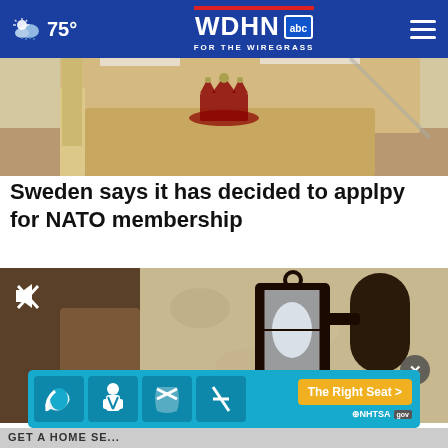75° WDHN abc FOR THE WIREGRASS
[Figure (photo): Photo of a wooden podium/lectern with a Swedish crown emblem, in what appears to be a legislative chamber with light-colored wood furniture]
Sweden says it has decided to applpy for NATO membership
[Figure (photo): Video player showing a wall-mounted outdoor lantern on a textured stucco wall, with a mute icon in the upper left corner and a close X button]
[Figure (infographic): NHTSA advertisement banner with car seat safety icons and 'The Right Seat >' call to action button on a teal background]
GET A HOME SE...